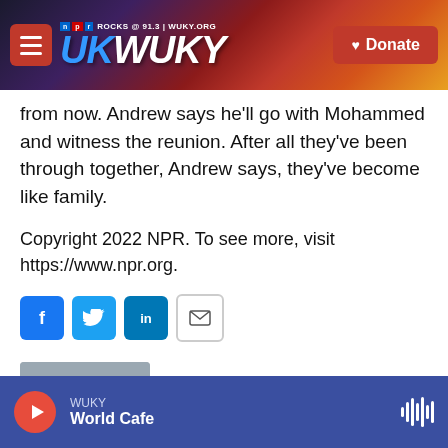WUKY NPR ROCKS @ 91.3 | WUKY.ORG — Donate
from now. Andrew says he'll go with Mohammed and witness the reunion. After all they've been through together, Andrew says, they've become like family.
Copyright 2022 NPR. To see more, visit https://www.npr.org.
[Figure (infographic): Social share buttons: Facebook (f), Twitter (bird), LinkedIn (in), Email (envelope)]
[Figure (photo): Headshot photo of Ari Shapiro, a smiling man in a suit]
Ari Shapiro
WUKY — World Cafe (player bar with play button and waveform icon)